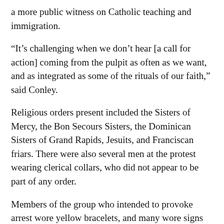a more public witness on Catholic teaching and immigration.
“It’s challenging when we don’t hear [a call for action] coming from the pulpit as often as we want, and as integrated as some of the rituals of our faith,” said Conley.
Religious orders present included the Sisters of Mercy, the Bon Secours Sisters, the Dominican Sisters of Grand Rapids, Jesuits, and Franciscan friars. There were also several men at the protest wearing clerical collars, who did not appear to be part of any order.
Members of the group who intended to provoke arrest wore yellow bracelets, and many wore signs with pictures of migrant children who had passed away in U.S. custody and the date of their deaths. Five people laid in the center of the Russell Senate Building rotunda, forming the shape of a cross.
Among those arrested included Sr. Pat Murphy, age 90, a